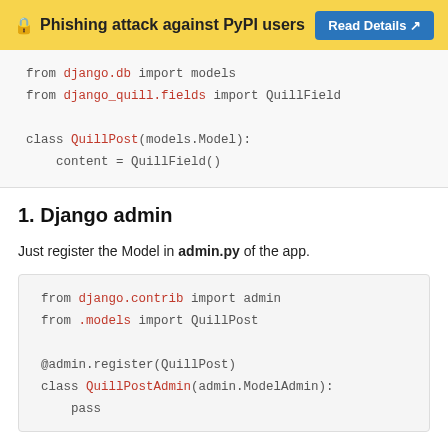🔒 Phishing attack against PyPI users  Read Details ↗
[Figure (screenshot): Code block showing: from django.db import models / from django_quill.fields import QuillField / class QuillPost(models.Model): / content = QuillField()]
1. Django admin
Just register the Model in admin.py of the app.
[Figure (screenshot): Code block showing: from django.contrib import admin / from .models import QuillPost / @admin.register(QuillPost) / class QuillPostAdmin(admin.ModelAdmin): / pass]